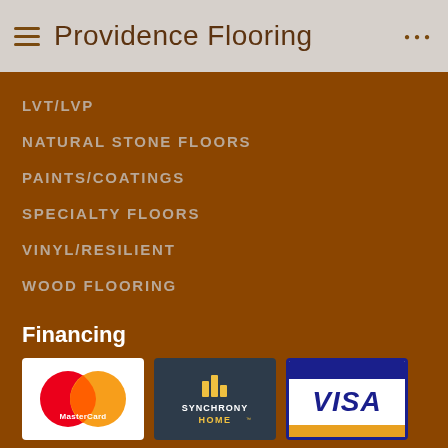Providence Flooring
LVT/LVP
NATURAL STONE FLOORS
PAINTS/COATINGS
SPECIALTY FLOORS
VINYL/RESILIENT
WOOD FLOORING
Financing
[Figure (logo): MasterCard logo — two overlapping circles, red and orange, with 'MasterCard' text on white background]
[Figure (logo): Synchrony HOME logo — bar chart icon above 'SYNCHRONY HOME' text on dark navy background with yellow accent]
[Figure (logo): Visa logo — 'VISA' in bold blue text on white background with blue top stripe and yellow bottom stripe]